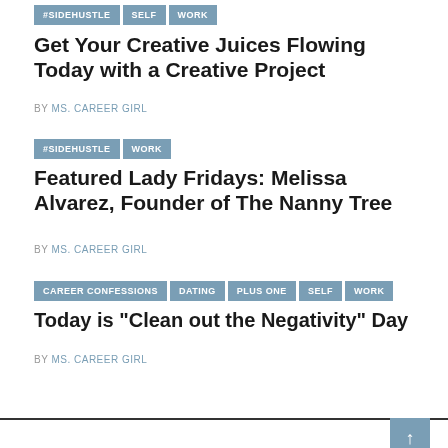#SIDEHUSTLE  SELF  WORK
Get Your Creative Juices Flowing Today with a Creative Project
BY MS. CAREER GIRL
#SIDEHUSTLE  WORK
Featured Lady Fridays: Melissa Alvarez, Founder of The Nanny Tree
BY MS. CAREER GIRL
CAREER CONFESSIONS  DATING  PLUS ONE  SELF  WORK
Today is "Clean out the Negativity" Day
BY MS. CAREER GIRL